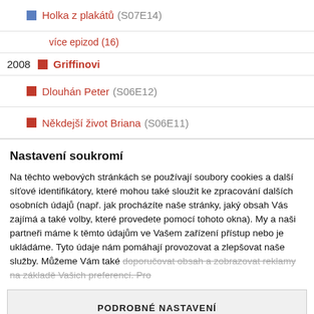Holka z plakátů (S07E14)
více epizod (16)
2008  Griffinovi
Dlouhán Peter (S06E12)
Někdejší život Briana (S06E11)
Nastavení soukromí
Na těchto webových stránkách se používají soubory cookies a další síťové identifikátory, které mohou také sloužit ke zpracování dalších osobních údajů (např. jak procházíte naše stránky, jaký obsah Vás zajímá a také volby, které provedete pomocí tohoto okna). My a naši partneři máme k těmto údajům ve Vašem zařízení přístup nebo je ukládáme. Tyto údaje nám pomáhají provozovat a zlepšovat naše služby. Můžeme Vám také doporučovat obsah a zobrazovat reklamy na základě Vašich preferencí. Pro
PODROBNÉ NASTAVENÍ
ROZUMÍM A PŘIJÍMÁM